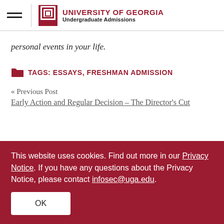UNIVERSITY OF GEORGIA Undergraduate Admissions
personal events in your life.
TAGS: ESSAYS, FRESHMAN ADMISSION
<< Previous Post
Early Action and Regular Decision – The Director's Cut
This website uses cookies. Find out more in our Privacy Notice. If you have any questions about the Privacy Notice, please contact infosec@uga.edu.